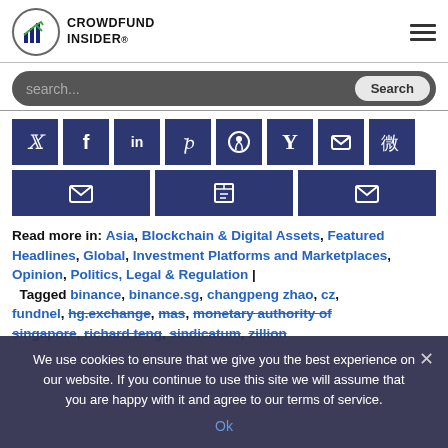Crowdfund Insider
[Figure (screenshot): Search bar with dark rounded background, placeholder 'search...' and Search button]
[Figure (infographic): Social media sharing buttons grid: Twitter, Facebook, LinkedIn, Pinterest, Reddit, Hacker News, Telegram, Weibo (top row), then email, print, email icons (bottom row), all in dark navy/blue squares]
Read more in: Asia, Blockchain & Digital Assets, Featured Headlines, Global, Investment Platforms and Marketplaces, Opinion, Politics, Legal & Regulation | Tagged binance, binance.sg, changpeng zhao, cz, fundnel, hg.exchange, mas, monetary authority of singapore, richard teng, sindicatum, zillion...
We use cookies to ensure that we give you the best experience on our website. If you continue to use this site we will assume that you are happy with it and agree to our terms of service.
Ok